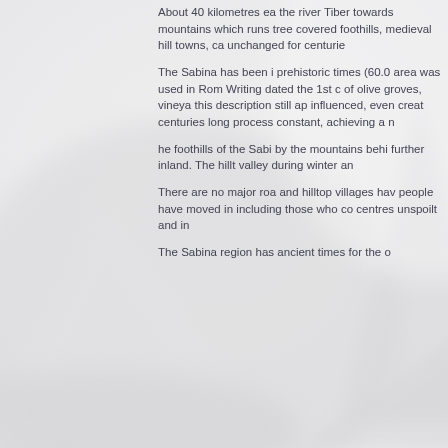[Figure (photo): Background image showing pale grey-white mountain or abstract landscape shapes, softly blurred, occupying the left and center portion of the page.]
About 40 kilometres ea the river Tiber towards mountains which runs tree covered foothills, medieval hill towns, ca unchanged for centurie
The Sabina has been i prehistoric times (60.0 area was used in Rom Writing dated the 1st c of olive groves, vineya this description still ap influenced, even creat centuries long process constant, achieving a n
he foothills of the Sabi by the mountains behi further inland. The hillt valley during winter an
There are no major roa and hilltop villages hav people have moved in including those who co centres unspoilt and in
The Sabina region has ancient times for the o